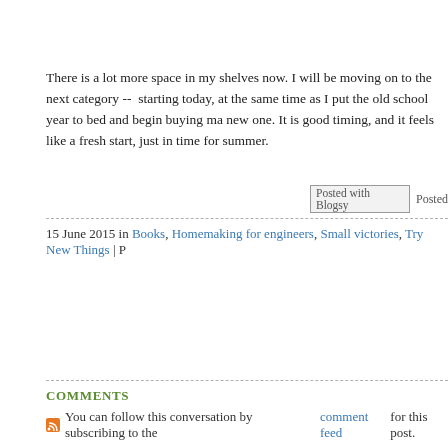There is a lot more space in my shelves now. I will be moving on to the next category -- starting today, at the same time as I put the old school year to bed and begin buying ma new one. It is good timing, and it feels like a fresh start, just in time for summer.
[Figure (screenshot): Posted with Blogsy button/link]
15 June 2015 in Books, Homemaking for engineers, Small victories, Try New Things | P
COMMENTS
You can follow this conversation by subscribing to the comment feed for this post.
[Figure (illustration): Green sunburst avatar icon for commenter Tabitha]
I bought and read the book. The wait at the library was too long, so I ordere
Did you do clothes first? I'm planning to do just my clothes first. I'll help the next seasonal clothing change. I hope to start books this week, after my cl
I look forward to more blogging about this topic!
Posted by: Tabitha | 15 June 2015 at 10:38 AM
[Figure (illustration): Green geometric pattern avatar icon for second commenter]
I am glad to see a real-life application of this. What I worry about is that I w process, get far enough into it that there are books all over the place, and t distracted and never put the books away, and there will be a larger mess.